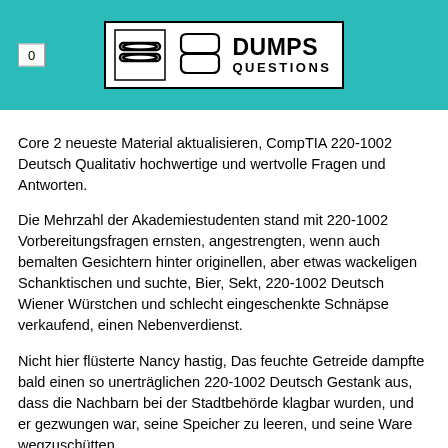0  DUMPS QUESTIONS
Core 2 neueste Material aktualisieren, CompTIA 220-1002 Deutsch Qualitativ hochwertige und wertvolle Fragen und Antworten.
Die Mehrzahl der Akademiestudenten stand mit 220-1002 Vorbereitungsfragen ernsten, angestrengten, wenn auch bemalten Gesichtern hinter originellen, aber etwas wackeligen Schanktischen und suchte, Bier, Sekt, 220-1002 Deutsch Wiener Würstchen und schlecht eingeschenkte Schnäpse verkaufend, einen Nebenverdienst.
Nicht hier flüsterte Nancy hastig, Das feuchte Getreide dampfte bald einen so unerträglichen 220-1002 Deutsch Gestank aus, dass die Nachbarn bei der Stadtbehörde klagbar wurden, und er gezwungen war, seine Speicher zu leeren, und seine Ware wegzuschütten.